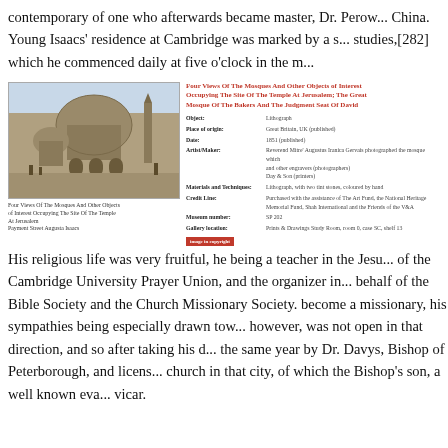contemporary of one who afterwards became master, Dr. Perow... China. Young Isaacs' residence at Cambridge was marked by a s... studies,[282] which he commenced daily at five o'clock in the m...
[Figure (screenshot): A museum catalogue entry showing a lithograph image of 'Four Views Of The Mosques And Other Objects of Interest Occupying The Site Of The Temple At Jerusalem; The Great Mosque Of The Bakers And The Judgment Seat Of David'. Includes metadata such as object type, place of origin, date, artist/maker, materials, credit line, museum number, and gallery location. A red 'image in copyright' button appears at the bottom right.]
Four Views Of The Mosques And Other Objects of Interest Occupying The Site Of The Temple At Jerusalem
Payment Street Augusta Isaacs
His religious life was very fruitful, he being a teacher in the Jesu... of the Cambridge University Prayer Union, and the organizer in... behalf of the Bible Society and the Church Missionary Society.... become a missionary, his sympathies being especially drawn tow... however, was not open in that direction, and so after taking his d... the same year by Dr. Davys, Bishop of Peterborough, and licens... church in that city, of which the Bishop's son, a well known eva... vicar.